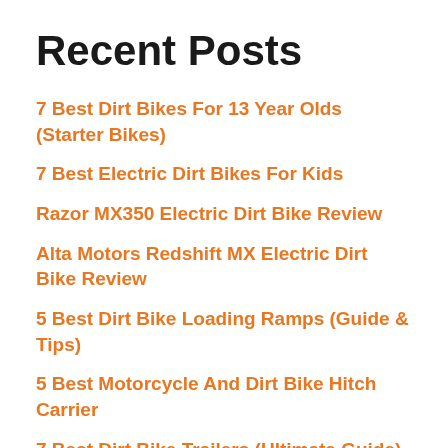Recent Posts
7 Best Dirt Bikes For 13 Year Olds (Starter Bikes)
7 Best Electric Dirt Bikes For Kids
Razor MX350 Electric Dirt Bike Review
Alta Motors Redshift MX Electric Dirt Bike Review
5 Best Dirt Bike Loading Ramps (Guide & Tips)
5 Best Motorcycle And Dirt Bike Hitch Carrier
7 Best Dirt Bike Trailers (Ultimate Guide)
12 Best Dirt Bike Under $1000 (Starter & Budget Bikes)
5 Best Beginner Dirt Bikes (Reviews & Guides)